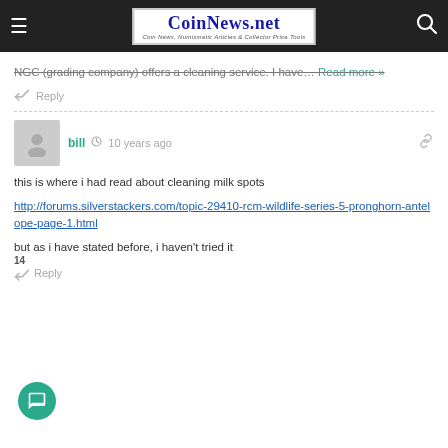CoinNews.net — Coin News, Numismatic Articles & Collector Price Tools
NGC (grading company) offers a cleaning service. I have… Read more »
Reply
bill · 10 years ago
this is where i had read about cleaning milk spots
http://forums.silverstackers.com/topic-29410-rcm-wildlife-series-5-pronghorn-antelope-page-1.html
but as i have stated before, i haven't tried it
Reply